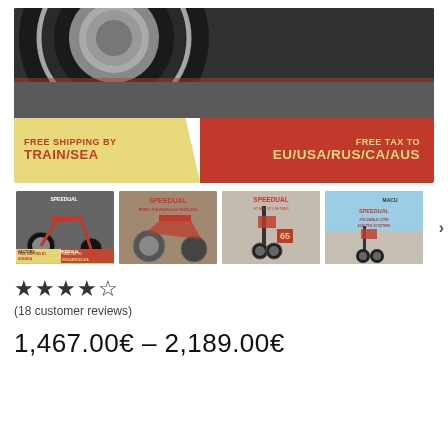[Figure (photo): Product banner showing a large tire/wheel close-up on dark background with red and gold promotional text: FREE SHIPPING BY TRAIN/SEA and FREE TAX TO EU/USA/RUS/CA/AUS]
[Figure (photo): Four thumbnail images of electric scooters with SPEEDUAL branding, showing various product angles]
★★★★☆ (18 customer reviews)
1,467.00€ – 2,189.00€